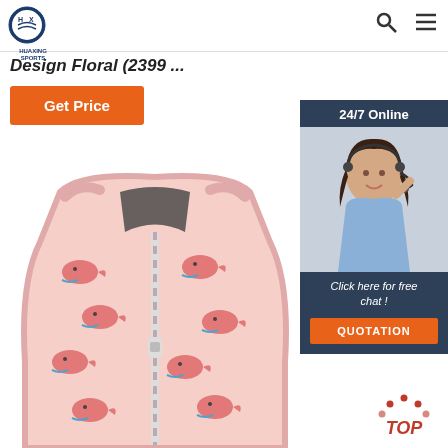[Figure (logo): Huaxing Sports logo - circular blue and white logo with brand name]
[Figure (other): Search and hamburger menu icons in header]
Design Floral (2399 ...
Get Price
[Figure (photo): Customer service representative with headset smiling, 24/7 Online support widget with dark blue background]
Click here for free chat !
QUOTATION
[Figure (photo): Pink children's life vest/swim jacket with whale floral pattern and zipper front]
[Figure (other): TOP navigation button with red dots arc above text]